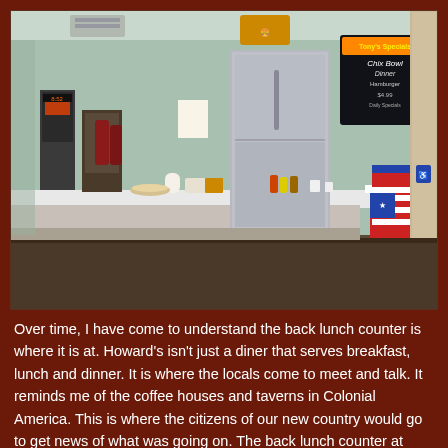[Figure (photo): Interior of a classic American diner showing a lunch counter with a white formica top, pink vinyl bar stools, coffee machines, a large stainless steel refrigerator, menu signs on the wall, and patriotic Uncle Sam decorations near a doorway. The walls are painted light green.]
Over time, I have come to understand the back lunch counter is where it is at. Howard's isn't just a diner that serves breakfast, lunch and dinner. It is where the locals come to meet and talk. It reminds me of the coffee houses and taverns in Colonial America. This is where the citizens of our new country would go to get news of what was going on. The back lunch counter at Howard's. One of the first...